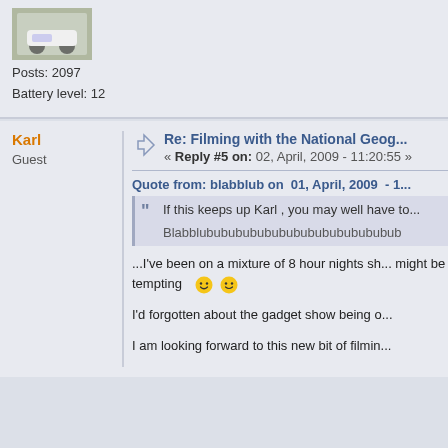[Figure (photo): Small avatar photo of a vehicle (appears to be a white three-wheeled scooter/vehicle) on a driveway]
Posts: 2097
Battery level: 12
Karl
Guest
Re: Filming with the National Geog...
« Reply #5 on: 02, April, 2009 - 11:20:55 »
Quote from: blabblub on  01, April, 2009  - 1...
If this keeps up Karl , you may well have to...
Blabblubububububububububububububub
...I've been on a mixture of 8 hour nights sh... might be tempting
I'd forgotten about the gadget show being o...
I am looking forward to this new bit of filmin...